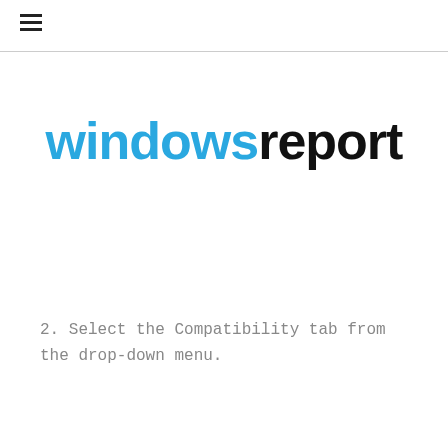≡
[Figure (logo): Windows Report logo — 'windows' in blue bold text and 'report' in black bold text]
2. Select the Compatibility tab from the drop-down menu.